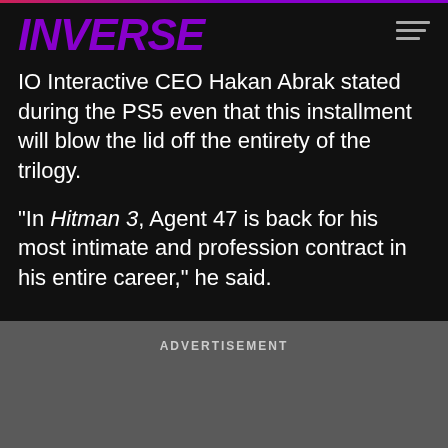INVERSE
IO Interactive CEO Hakan Abrak stated during the PS5 even that this installment will blow the lid off the entirety of the trilogy.
"In Hitman 3, Agent 47 is back for his most intimate and profession contract in his entire career," he said.
ADVERTISEMENT